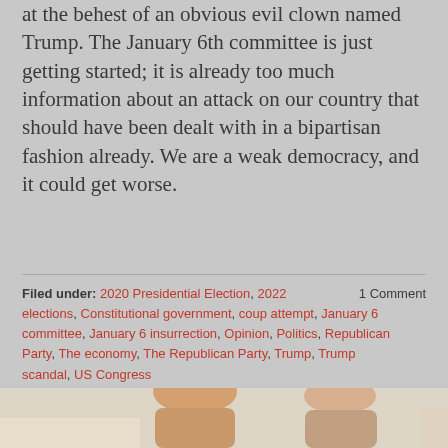at the behest of an obvious evil clown named Trump. The January 6th committee is just getting started; it is already too much information about an attack on our country that should have been dealt with in a bipartisan fashion already. We are a weak democracy, and it could get worse.
Filed under: 2020 Presidential Election, 2022 elections, Constitutional government, coup attempt, January 6 committee, January 6 insurrection, Opinion, Politics, Republican Party, The economy, The Republican Party, Trump, Trump scandal, US Congress
1 Comment
[Figure (photo): Partial photo at bottom of page showing two people, cropped at top of their heads/shoulders, against a light background.]